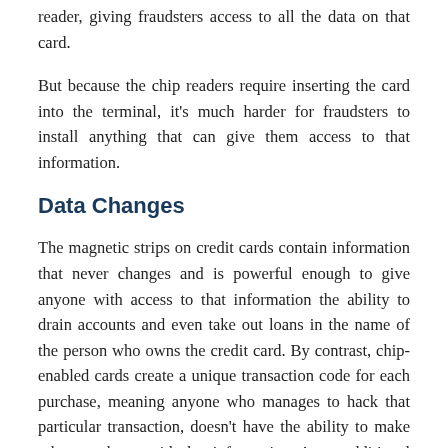reader, giving fraudsters access to all the data on that card.
But because the chip readers require inserting the card into the terminal, it's much harder for fraudsters to install anything that can give them access to that information.
Data Changes
The magnetic strips on credit cards contain information that never changes and is powerful enough to give anyone with access to that information the ability to drain accounts and even take out loans in the name of the person who owns the credit card. By contrast, chip-enabled cards create a unique transaction code for each purchase, meaning anyone who manages to hack that particular transaction, doesn't have the ability to make other purchases with that information. As an additional security measure, the data that goes through credit card chips is encrypted, meaning anyone who manages to steal the information will have a harder time being able to